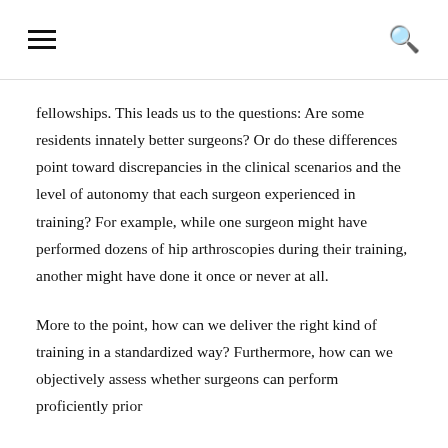≡   🔍
fellowships. This leads us to the questions: Are some residents innately better surgeons? Or do these differences point toward discrepancies in the clinical scenarios and the level of autonomy that each surgeon experienced in training? For example, while one surgeon might have performed dozens of hip arthroscopies during their training, another might have done it once or never at all.
More to the point, how can we deliver the right kind of training in a standardized way? Furthermore, how can we objectively assess whether surgeons can perform proficiently prior